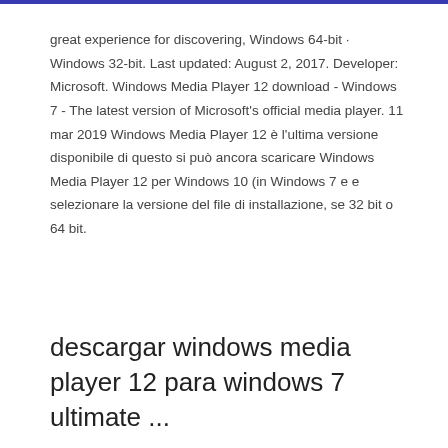great experience for discovering, Windows 64-bit · Windows 32-bit. Last updated: August 2, 2017. Developer: Microsoft. Windows Media Player 12 download - Windows 7 - The latest version of Microsoft's official media player. 11 mar 2019 Windows Media Player 12 è l'ultima versione disponibile di questo si può ancora scaricare Windows Media Player 12 per Windows 10 (in Windows 7 e e selezionare la versione del file di installazione, se 32 bit o 64 bit.
descargar windows media player 12 para windows 7 ultimate ...